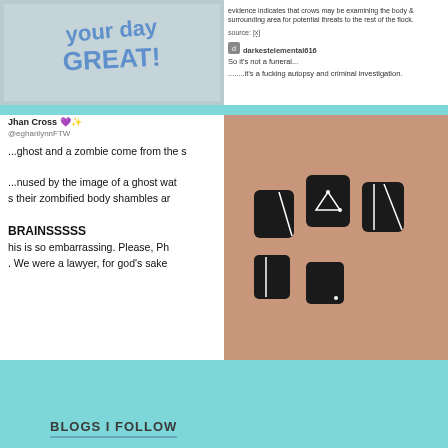[Figure (photo): Handwritten note in blue marker on white background saying 'your day GREAT!']
[Figure (screenshot): Tumblr post about crows examining body and surrounding area for threats, with comment from darkestelemental616 saying 'So it's not a funeral... .......it's a fucking autopsy and criminal investigation.']
[Figure (screenshot): Tweet from Jhan Cross saying a ghost and a zombie come from the same body — amused by the image of a ghost watching their zombified body shambles around yelling BRAINSSSSS. This is so embarrassing. Please, Ph... We were a lawyer, for god's sake]
[Figure (photo): Close-up photo of hand with black matte nail art featuring white geometric designs including lines, dots, and a triangle outline]
BLOGS I FOLLOW